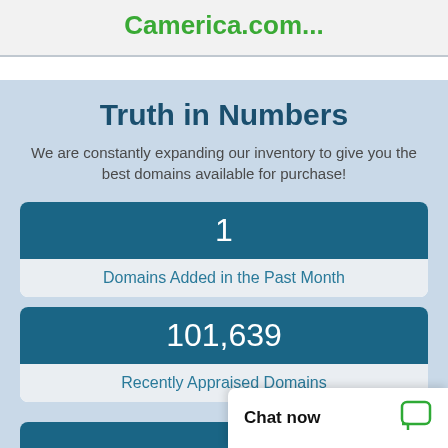Camerica.com...
Truth in Numbers
We are constantly expanding our inventory to give you the best domains available for purchase!
1
Domains Added in the Past Month
101,639
Recently Appraised Domains
Chat now